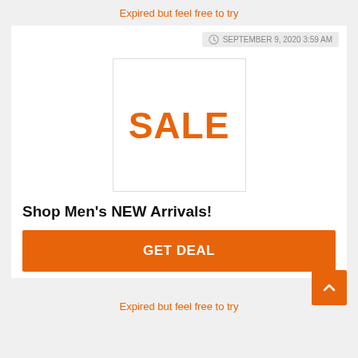Expired but feel free to try
SEPTEMBER 9, 2020 3:59 AM
[Figure (illustration): A white square box with orange bold text 'SALE' centered inside]
Shop Men's NEW Arrivals!
GET DEAL
Expired but feel free to try